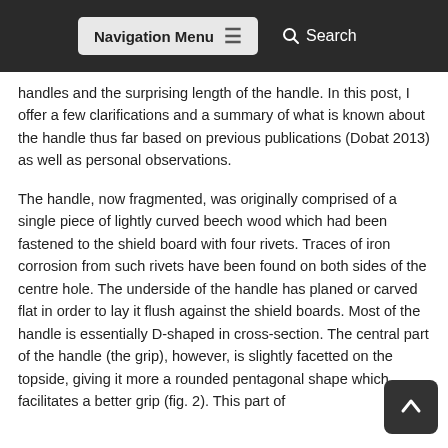Navigation Menu  Search
handles and the surprising length of the handle. In this post, I offer a few clarifications and a summary of what is known about the handle thus far based on previous publications (Dobat 2013) as well as personal observations.
The handle, now fragmented, was originally comprised of a single piece of lightly curved beech wood which had been fastened to the shield board with four rivets. Traces of iron corrosion from such rivets have been found on both sides of the centre hole. The underside of the handle has planed or carved flat in order to lay it flush against the shield boards. Most of the handle is essentially D-shaped in cross-section. The central part of the handle (the grip), however, is slightly facetted on the topside, giving it more a rounded pentagonal shape which facilitates a better grip (fig. 2). This part of